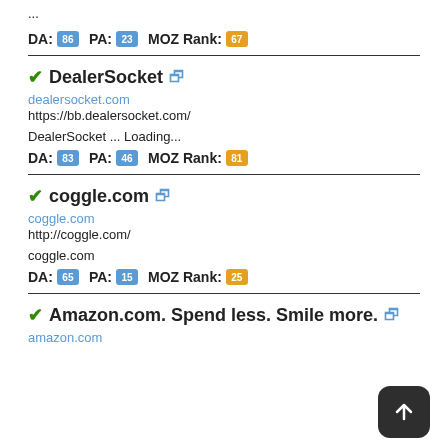...
DA: 86  PA: 23  MOZ Rank: 67
✔DealerSocket 🔗
dealersocket.com
https://bb.dealersocket.com/
DealerSocket ... Loading...
DA: 83  PA: 46  MOZ Rank: 81
✔coggle.com 🔗
coggle.com
http://coggle.com/
coggle.com
DA: 65  PA: 15  MOZ Rank: 25
✔Amazon.com. Spend less. Smile more. 🔗
amazon.com